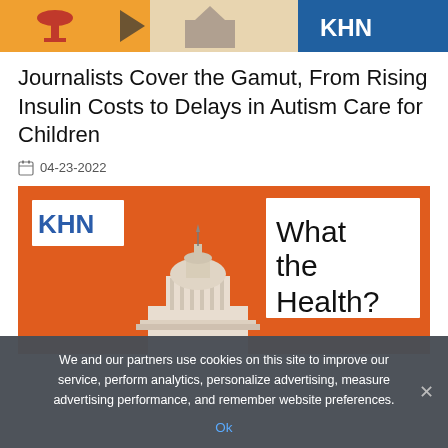[Figure (illustration): Top banner with colorful icons including what appears to be a wine glass and other health-related icons on orange, red, and blue background segments]
Journalists Cover the Gamut, From Rising Insulin Costs to Delays in Autism Care for Children
04-23-2022
[Figure (logo): KHN 'What the Health?' podcast logo on orange background with US Capitol building silhouette]
We and our partners use cookies on this site to improve our service, perform analytics, personalize advertising, measure advertising performance, and remember website preferences.